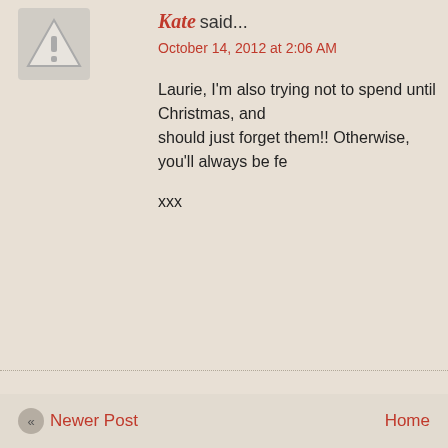[Figure (illustration): Avatar placeholder icon — grey triangle with exclamation mark warning symbol]
Kate said...
October 14, 2012 at 2:06 AM
Laurie, I'm also trying not to spend until Christmas, and should just forget them!! Otherwise, you'll always be fe
xxx
Post a Comment
Note: Only a member of this blog may post a comment.
To leave a comment, click the button below to sign in w
SIGN IN WITH GOOGLE
« Newer Post
Home